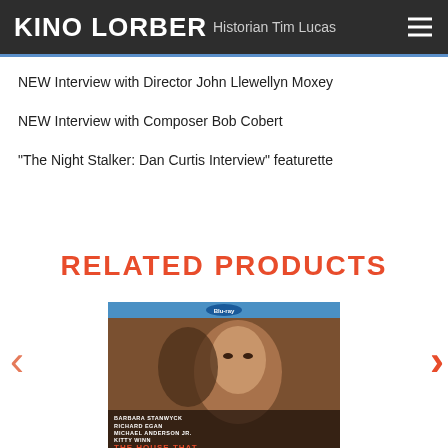KINO LORBER — Historian Tim Lucas
NEW Interview with Director John Llewellyn Moxey
NEW Interview with Composer Bob Cobert
"The Night Stalker: Dan Curtis Interview" featurette
RELATED PRODUCTS
[Figure (photo): Blu-ray product image for 'The House That...' featuring a woman's face on the cover, with cast names Barbara Stanwyck, Richard Egan, Michael Anderson Jr., Kitty Winn listed at bottom. Blu-ray logo at top. Navigation arrows (< and >) on either side of the product carousel.]